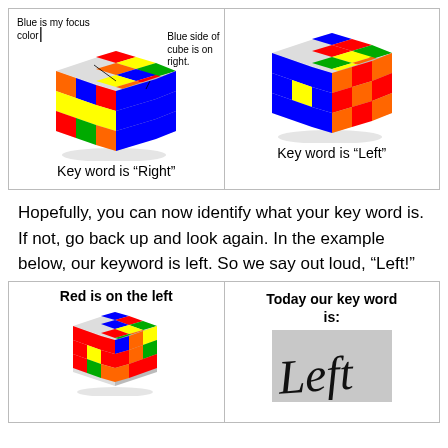[Figure (illustration): Two Rubik's cubes side by side. Left cube has blue face on right side with annotations 'Blue is my focus color' and 'Blue side of cube is on right.' Right cube has blue face on left side.]
Key word is “Right”
Key word is “Left”
Hopefully, you can now identify what your key word is. If not, go back up and look again. In the example below, our keyword is left. So we say out loud, “Left!”
[Figure (illustration): Rubik's cube with red face on left side. Label reads 'Red is on the left'. Next to it a gray box shows handwritten word 'Left' with label 'Today our key word is:']